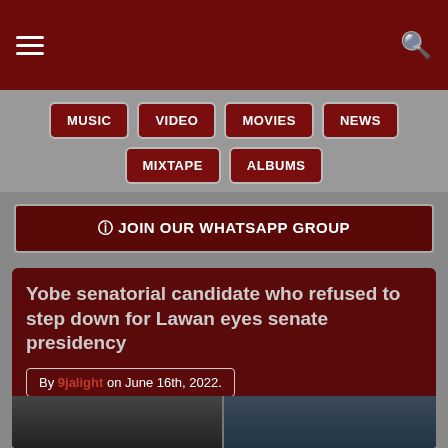9jalight navigation header with hamburger menu and search icon
MUSIC
VIDEO
MOVIES
NEWS
MIXTAPE
ALBUMS
JOIN OUR WHATSAPP GROUP
Yobe senatorial candidate who refused to step down for Lawan eyes senate presidency
By 9jalight on June 16th, 2022.
NEWS
[Figure (photo): Two men wearing traditional Nigerian caps side by side]